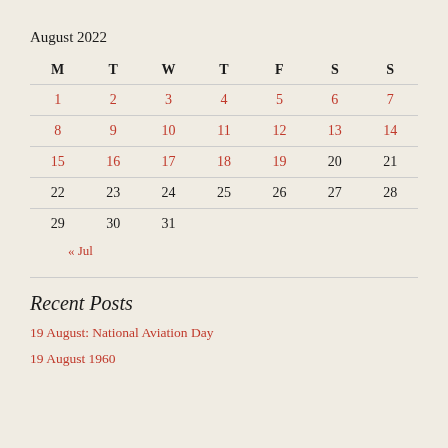August 2022
| M | T | W | T | F | S | S |
| --- | --- | --- | --- | --- | --- | --- |
| 1 | 2 | 3 | 4 | 5 | 6 | 7 |
| 8 | 9 | 10 | 11 | 12 | 13 | 14 |
| 15 | 16 | 17 | 18 | 19 | 20 | 21 |
| 22 | 23 | 24 | 25 | 26 | 27 | 28 |
| 29 | 30 | 31 |  |  |  |  |
« Jul
Recent Posts
19 August: National Aviation Day
19 August 1960